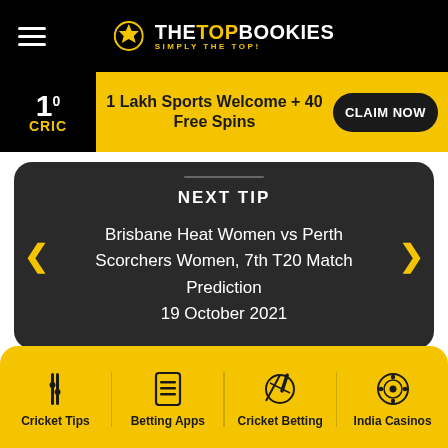THE TOP BOOKIES - SIMPLY THE TOP!
[Figure (infographic): 10CRIC casino ad banner: 1 Lakh Sports Welcome + 40 Free Spins - CLAIM NOW]
NEXT TIP
Brisbane Heat Women vs Perth Scorchers Women, 7th T20 Match Prediction 19 October 2021
Cricket Tips | Betting Apps | Cricket Betting | India Casinos